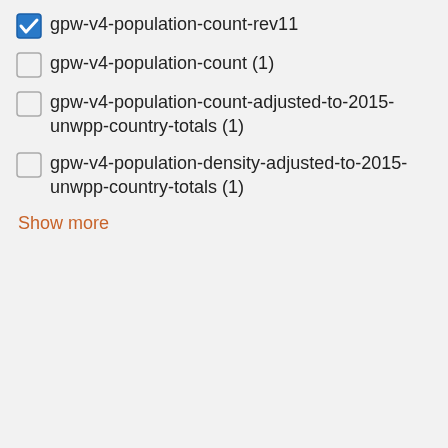gpw-v4-population-count-rev11 (checked)
gpw-v4-population-count (1)
gpw-v4-population-count-adjusted-to-2015-unwpp-country-totals (1)
gpw-v4-population-density-adjusted-to-2015-unwpp-country-totals (1)
Show more